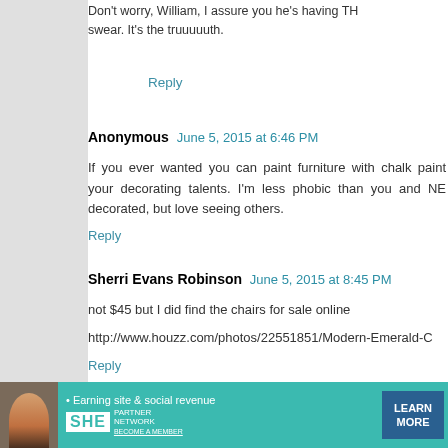Don't worry, William, I assure you he's having TH swear. It's the truuuuuth.
Reply
Anonymous  June 5, 2015 at 6:46 PM
If you ever wanted you can paint furniture with chalk paint your decorating talents. I'm less phobic than you and NE decorated, but love seeing others.
Reply
Sherri Evans Robinson  June 5, 2015 at 8:45 PM
not $45 but I did find the chairs for sale online
http://www.houzz.com/photos/22551851/Modern-Emerald-C
Reply
Ausmerican Housewife - Creating with Kara Davie
[Figure (screenshot): SHE Partner Network advertisement banner with woman photo, text 'Earning site & social revenue', SHE logo, and 'LEARN MORE' button]